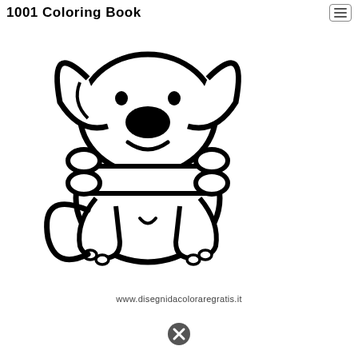1001 Coloring Book
[Figure (illustration): Cartoon coloring book illustration of a cute puppy dog sitting upright, holding a large bone in front of its body. The dog has big floppy ears, a large oval black nose, small eyes, a smiling mouth, stubby front paws and round back paws with toe ovals marked. The image is black outline on white background, designed for coloring.]
www.disegnidacoloraregratis.it
[Figure (other): A circular close/cancel icon (circle with X inside) at the bottom center of the page.]